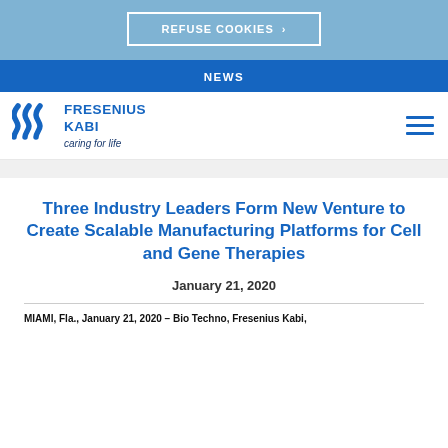REFUSE COOKIES ›
NEWS
[Figure (logo): Fresenius Kabi logo with three wavy lines icon, text FRESENIUS KABI, tagline caring for life]
Three Industry Leaders Form New Venture to Create Scalable Manufacturing Platforms for Cell and Gene Therapies
January 21, 2020
MIAMI, Fla., January 21, 2020 – Bio Techno, Fresenius Kabi,